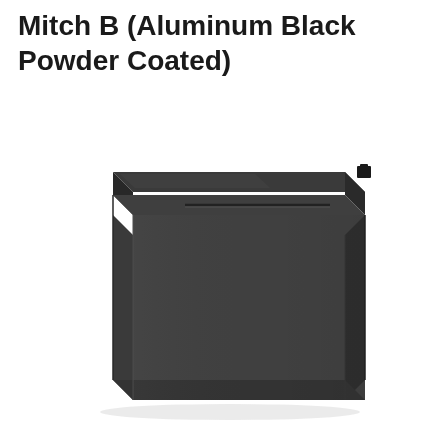Mitch B (Aluminum Black Powder Coated)
[Figure (photo): A black powder coated aluminum mailbox (Mitch B model) shown in a 3/4 perspective view against a white background. The mailbox is a rectangular box shape with a flat lid that has a horizontal slot/handle, and a small mount bracket visible at the top right corner.]